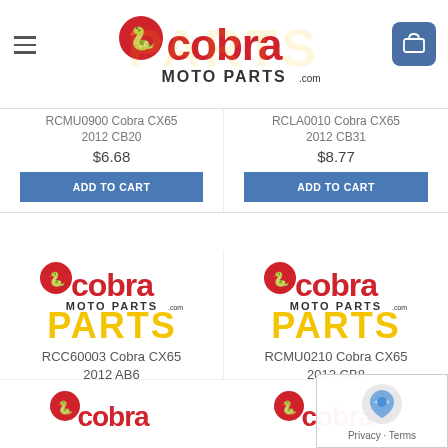Cobra Moto Parts - cobramoto parts.com
RCMU0900 Cobra CX65 2012 CB20
$6.68
ADD TO CART
RCLA0010 Cobra CX65 2012 CB31
$8.77
ADD TO CART
[Figure (logo): Cobra Moto Parts logo with yellow cobra mascot and PARTS text]
RCC60003 Cobra CX65 2012 AB6
$19.88
ADD TO CART
[Figure (logo): Cobra Moto Parts logo with yellow cobra mascot and PARTS text]
RCMU0210 Cobra CX65 2012 CB8
$6.68
ADD TO CART
[Figure (logo): Cobra Moto Parts logo - partial, bottom left]
[Figure (logo): Cobra Moto Parts logo - partial, bottom right]
Privacy · Terms